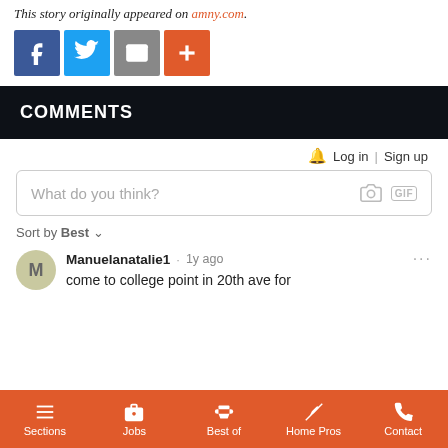This story originally appeared on amny.com.
[Figure (infographic): Social sharing buttons: Facebook (blue), Twitter (light blue), Email/share (gray), Plus/more (orange-red)]
COMMENTS
Log in | Sign up
What do you think?
Sort by Best
Manuelanatalie1 · 1y ago
come to college point in 20th ave for
Sections  Jobs  Best of  Home Pros  Contact